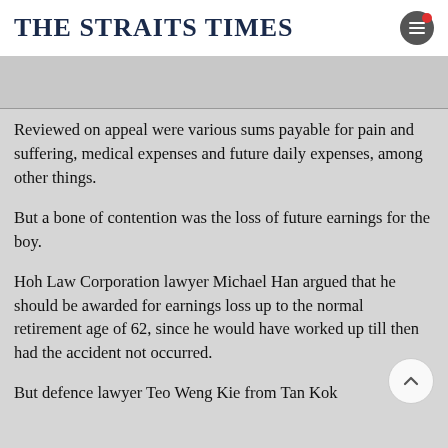THE STRAITS TIMES
Reviewed on appeal were various sums payable for pain and suffering, medical expenses and future daily expenses, among other things.
But a bone of contention was the loss of future earnings for the boy.
Hoh Law Corporation lawyer Michael Han argued that he should be awarded for earnings loss up to the normal retirement age of 62, since he would have worked up till then had the accident not occurred.
But defence lawyer Teo Weng Kie from Tan Kok